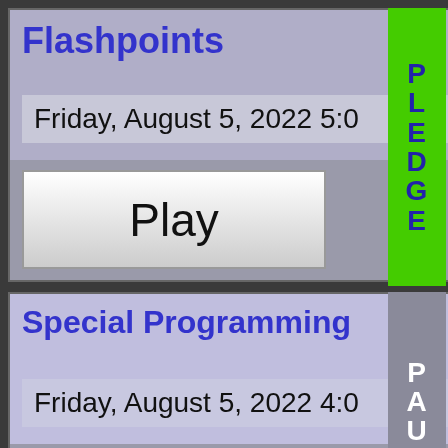Flashpoints
Friday, August 5, 2022 5:0
Play
PLEDGE
Special Programming
Friday, August 5, 2022 4:0
Play
PAUSE